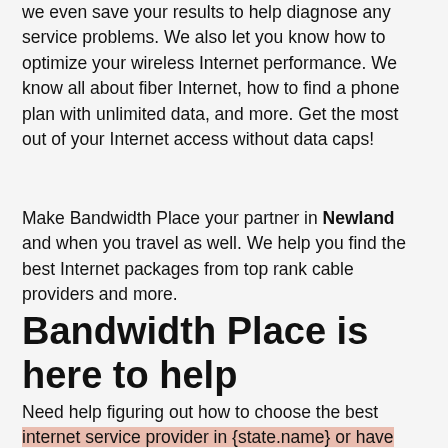we even save your results to help diagnose any service problems. We also let you know how to optimize your wireless Internet performance. We know all about fiber Internet, how to find a phone plan with unlimited data, and more. Get the most out of your Internet access without data caps!
Make Bandwidth Place your partner in Newland and when you travel as well. We help you find the best Internet packages from top rank cable providers and more.
Bandwidth Place is here to help
Need help figuring out how to choose the best internet service provider in {state.name} or have further questions? Bandwidth Place can help every step of the way. We're